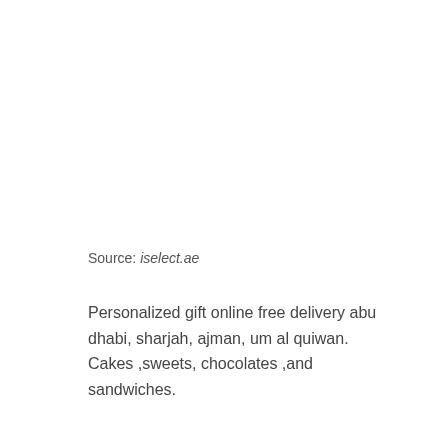Source: iselect.ae
Personalized gift online free delivery abu dhabi, sharjah, ajman, um al quiwan. Cakes ,sweets, chocolates ,and sandwiches.